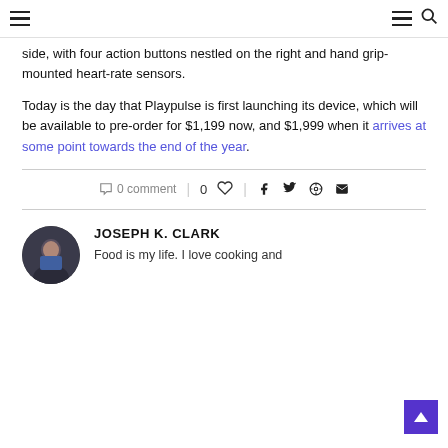Navigation header with hamburger menu and search icon
side, with four action buttons nestled on the right and hand grip-mounted heart-rate sensors.
Today is the day that Playpulse is first launching its device, which will be available to pre-order for $1,199 now, and $1,999 when it arrives at some point towards the end of the year.
0 comment | 0 ♡ | social share icons (facebook, twitter, pinterest, email)
JOSEPH K. CLARK
Food is my life. I love cooking and